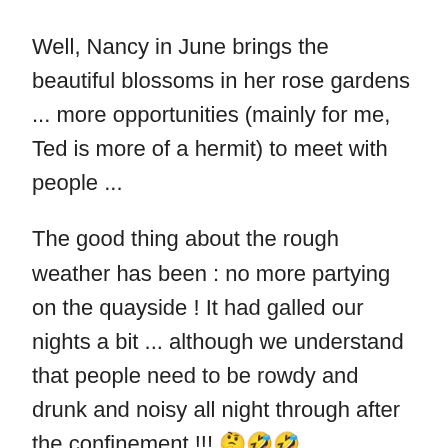Well, Nancy in June brings the beautiful blossoms in her rose gardens ... more opportunities (mainly for me, Ted is more of a hermit) to meet with people ...
The good thing about the rough weather has been : no more partying on the quayside ! It had galled our nights a bit ... although we understand that people need to be rowdy and drunk and noisy all night through after the confinement !!! 🤔🤣🤣
All the best with plans E, F etc to come ! Take care ! Ch
Le ven. 5 juin 2020 à 16:03, The Olivia Rose Diaries a écrit :
> maryjane678 posted: " Welcome to the 12th blog in the Olivia Rose Diaries. > We're still in Basse Ham! We had hoped to leave mid-week but the weather > turned